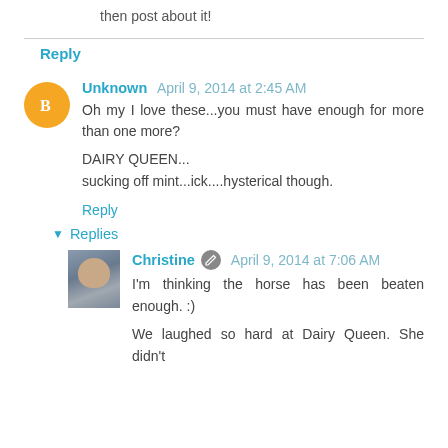You absolutely must take a day adventure! And then post about it!
Reply
Unknown April 9, 2014 at 2:45 AM
Oh my I love these...you must have enough for more than one more?

DAIRY QUEEN...
sucking off mint...ick....hysterical though.
Reply
Replies
Christine April 9, 2014 at 7:06 AM
I'm thinking the horse has been beaten enough. :)

We laughed so hard at Dairy Queen. She didn't